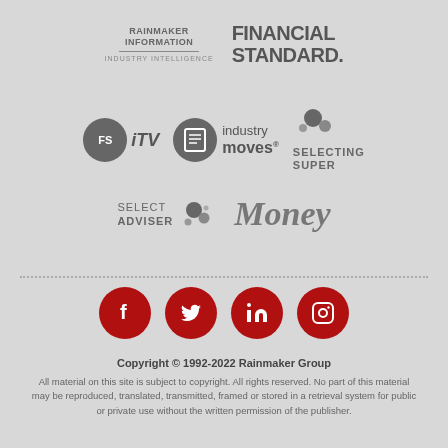[Figure (logo): Rainmaker Information / Industry Intelligence logo with horizontal rule]
[Figure (logo): Financial Standard. logo in bold gray]
[Figure (logo): FS iTV logo - gray circle with FS, italic iTV text]
[Figure (logo): industry moves registered logo - circle with book icon]
[Figure (logo): Selecting Super logo with bubble circles]
[Figure (logo): Select Adviser logo with bubble circles]
[Figure (logo): Money italic serif logo]
[Figure (logo): Social media icons: Facebook, Twitter, LinkedIn, Instagram in red circles]
Copyright © 1992-2022 Rainmaker Group
All material on this site is subject to copyright. All rights reserved. No part of this material may be reproduced, translated, transmitted, framed or stored in a retrieval system for public or private use without the written permission of the publisher.